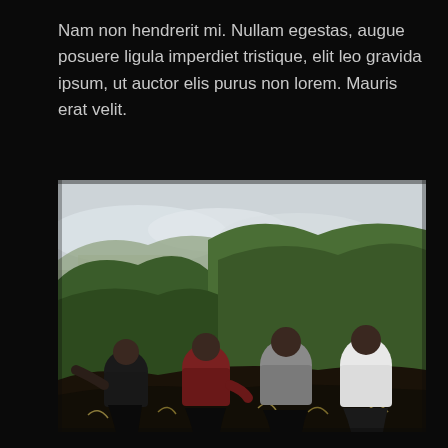Nam non hendrerit mi. Nullam egestas, augue posuere ligula imperdiet tristique, elit leo gravida ipsum, ut auctor elis purus non lorem. Mauris erat velit.
[Figure (photo): Four young men sitting with their backs to the camera on a hillside or mountain ridge, overlooking a valley with mountains in the background. Green mossy hills visible. The men are wearing casual t-shirts in black, dark red/maroon, grey, and white.]